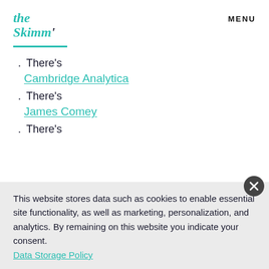the Skimm' | MENU
. There's
Cambridge Analytica
. There's
James Comey
. There's
This website stores data such as cookies to enable essential site functionality, as well as marketing, personalization, and analytics. By remaining on this website you indicate your consent. Data Storage Policy